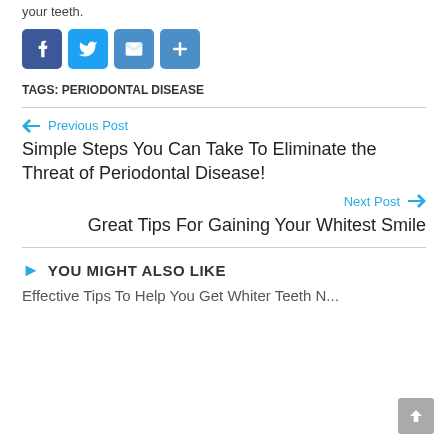your teeth.
[Figure (other): Social share buttons: Facebook, Twitter, Email, Share (plus icon)]
TAGS: PERIODONTAL DISEASE
← Previous Post
Simple Steps You Can Take To Eliminate the Threat of Periodontal Disease!
Next Post →
Great Tips For Gaining Your Whitest Smile
YOU MIGHT ALSO LIKE
Effective Tips To Help You Get Whiter Teeth N...